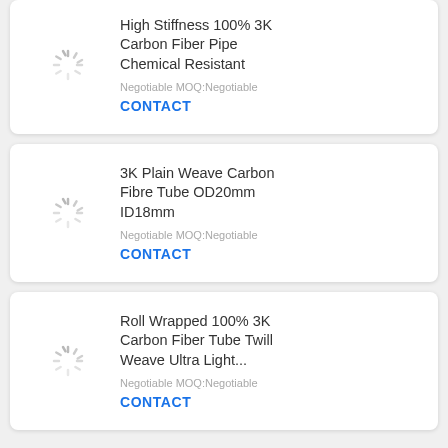[Figure (other): Product listing card (partial, top): High Stiffness 100% 3K Carbon Fiber Pipe Chemical Resistant with loading spinner image placeholder]
High Stiffness 100% 3K Carbon Fiber Pipe Chemical Resistant
Negotiable MOQ:Negotiable
CONTACT
[Figure (other): Product listing card: 3K Plain Weave Carbon Fibre Tube OD20mm ID18mm with loading spinner image placeholder]
3K Plain Weave Carbon Fibre Tube OD20mm ID18mm
Negotiable MOQ:Negotiable
CONTACT
[Figure (other): Product listing card: Roll Wrapped 100% 3K Carbon Fiber Tube Twill Weave Ultra Light... with loading spinner image placeholder]
Roll Wrapped 100% 3K Carbon Fiber Tube Twill Weave Ultra Light...
Negotiable MOQ:Negotiable
CONTACT